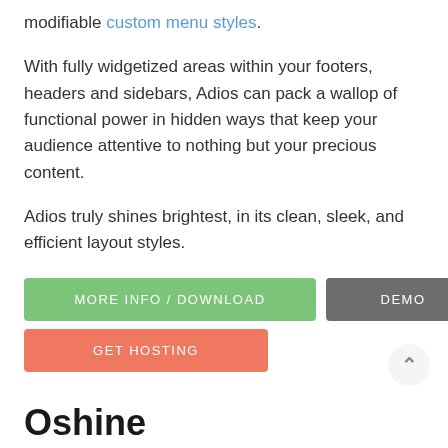modifiable custom menu styles.
With fully widgetized areas within your footers, headers and sidebars, Adios can pack a wallop of functional power in hidden ways that keep your audience attentive to nothing but your precious content.
Adios truly shines brightest, in its clean, sleek, and efficient layout styles.
MORE INFO / DOWNLOAD   DEMO   GET HOSTING
Oshine